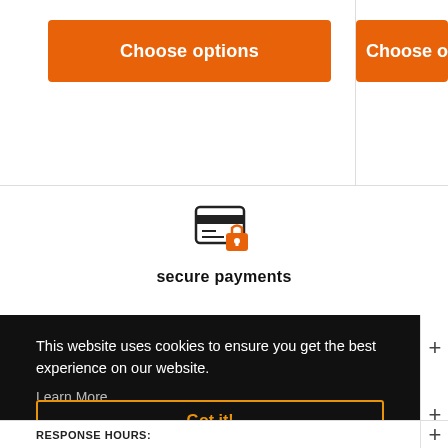[Figure (screenshot): Orange 'Choose options' button on the left side of the top section]
[Figure (screenshot): Orange 'Choose o[ptions]' button partially visible on the right side of the top section]
[Figure (illustration): Secure payments icon: credit card with orange padlock overlay]
secure payments
This website uses cookies to ensure you get the best experience on our website.
Learn More
Got it!
RESPONSE HOURS: